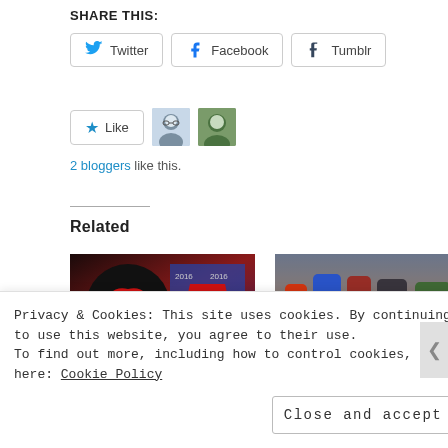Share This:
Twitter | Facebook | Tumblr
Like  [avatar1] [avatar2]
2 bloggers like this.
Related
[Figure (photo): Batman v Superman movie poster collage with red and dark imagery]
[Figure (photo): Justice League movie characters standing together]
Batman v Superman:
Justice League – Review
Privacy & Cookies: This site uses cookies. By continuing to use this website, you agree to their use. To find out more, including how to control cookies, see here: Cookie Policy
Close and accept